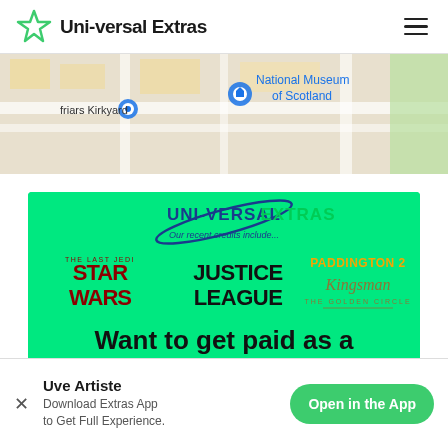Uni-versal Extras
[Figure (map): Google Maps view showing Greyfriars Kirkyard and National Museum of Scotland in Edinburgh]
[Figure (infographic): Uni-versal Extras promotional banner on green background showing Star Wars The Last Jedi, Justice League, Paddington 2, and Kingsman logos with text 'Our recent credits include...' and 'Want to get paid as a Film & TV Extra?']
Uve Artiste
Download Extras App to Get Full Experience.
Open in the App